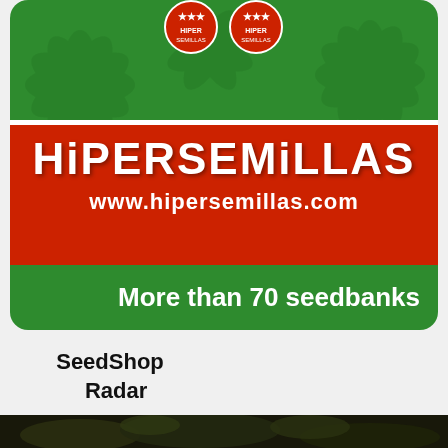[Figure (logo): Hipersemillas brand advertisement showing green top area with cannabis leaf pattern, two red star/badge icons at top, a red band with the brand name HIPERSEMILLAS and URL www.hipersemillas.com, and a green bottom band with text 'More than 70 seedbanks']
SeedShop Radar
[Figure (photo): Dark close-up photo of cannabis plant buds at the bottom of the page]